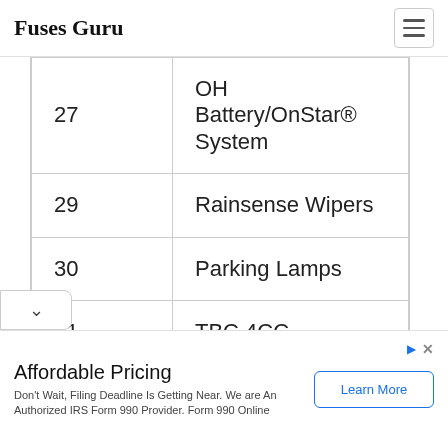Fuses Guru
| # | Description |
| --- | --- |
| 27 | OH Battery/OnStar® System |
| 29 | Rainsense Wipers |
| 30 | Parking Lamps |
| 31 | TBC 4CC |
| 32 | TBC 5 |
Affordable Pricing
Don't Wait, Filing Deadline Is Getting Near. We are An Authorized IRS Form 990 Provider. Form 990 Online